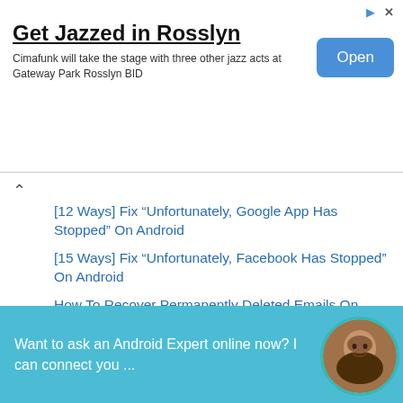[Figure (screenshot): Ad banner: Get Jazzed in Rosslyn with Open button]
Get Jazzed in Rosslyn
Cimafunk will take the stage with three other jazz acts at Gateway Park Rosslyn BID
[12 Ways] Fix “Unfortunately, Google App Has Stopped” On Android
[15 Ways] Fix “Unfortunately, Facebook Has Stopped” On Android
How To Recover Permanently Deleted Emails On iPhone 13/12/11
8 Ways To Fix iPhone Stuck In Recovery Mode After iOS
Want to ask an Android Expert online now? I can connect you ...